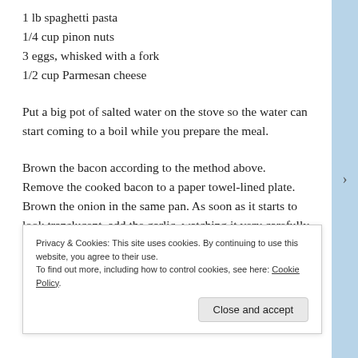1 lb spaghetti pasta
1/4 cup pinon nuts
3 eggs, whisked with a fork
1/2 cup Parmesan cheese
Put a big pot of salted water on the stove so the water can start coming to a boil while you prepare the meal.
Brown the bacon according to the method above. Remove the cooked bacon to a paper towel-lined plate. Brown the onion in the same pan. As soon as it starts to look translucent, add the garlic, watching it very carefully so neither brown, especially the garlic which will get very
Privacy & Cookies: This site uses cookies. By continuing to use this website, you agree to their use.
To find out more, including how to control cookies, see here: Cookie Policy